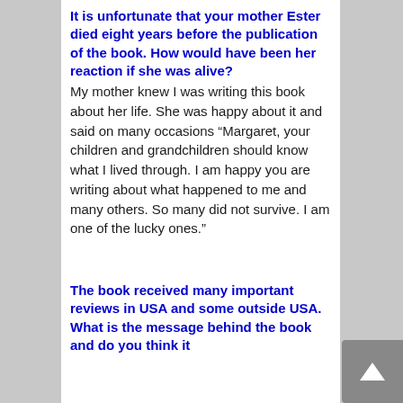It is unfortunate that your mother Ester died eight years before the publication of the book. How would have been her reaction if she was alive?
My mother knew I was writing this book about her life. She was happy about it and said on many occasions “Margaret, your children and grandchildren should know what I lived through. I am happy you are writing about what happened to me and many others. So many did not survive. I am one of the lucky ones.”
The book received many important reviews in USA and some outside USA. What is the message behind the book and do you think it